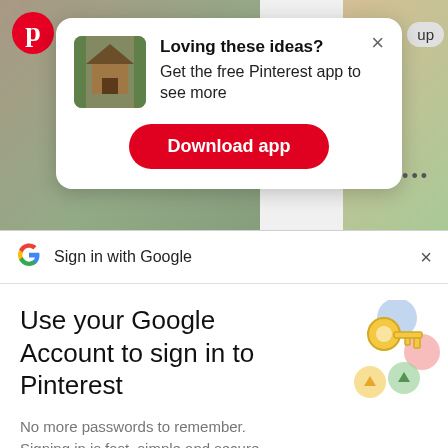[Figure (screenshot): Pinterest app background with nature/cabin images]
[Figure (logo): Pinterest red circle logo with white P]
up
×
[Figure (photo): Small thumbnail of a wooden cabin/carport structure]
Loving these ideas? Get the free Pinterest app to see more
Download app
···
[Figure (logo): Google G logo]
Sign in with Google
×
Use your Google Account to sign in to Pinterest
No more passwords to remember. Signing in is fast, simple and secure.
[Figure (illustration): Google key illustration with colorful circles]
Continue